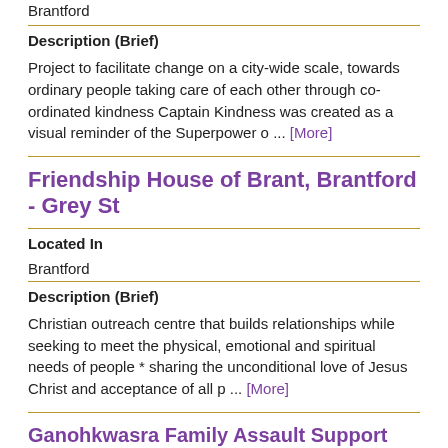Brantford
Description (Brief)
Project to facilitate change on a city-wide scale, towards ordinary people taking care of each other through co-ordinated kindness Captain Kindness was created as a visual reminder of the Superpower o ... [More]
Friendship House of Brant, Brantford - Grey St
Located In
Brantford
Description (Brief)
Christian outreach centre that builds relationships while seeking to meet the physical, emotional and spiritual needs of people * sharing the unconditional love of Jesus Christ and acceptance of all p ... [More]
Ganohkwasra Family Assault Support Services, Ohsweken - Chiefswood Rd, Main Office